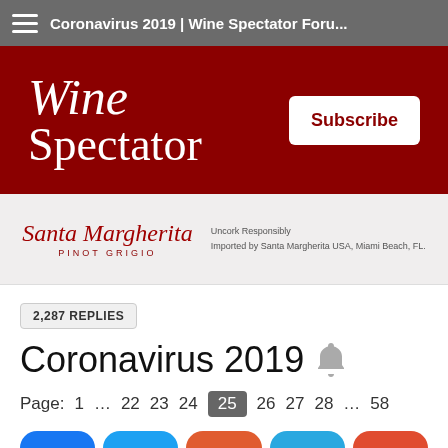Coronavirus 2019 | Wine Spectator Foru...
[Figure (logo): Wine Spectator logo on dark red background with Subscribe button]
[Figure (logo): Santa Margherita Pinot Grigio advertisement - Uncork Responsibly. Imported by Santa Margherita USA, Miami Beach, FL.]
2,287 REPLIES
Coronavirus 2019
Page: 1 … 22 23 24 25 26 27 28 … 58